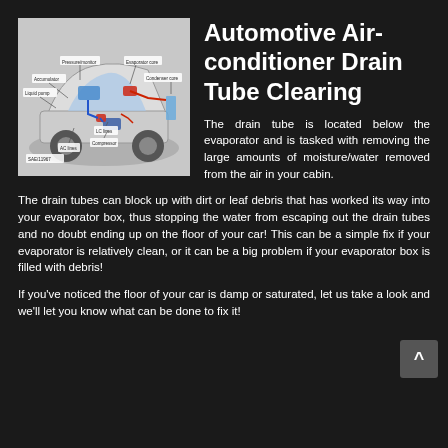[Figure (engineering-diagram): Cutaway diagram of a car showing the automotive air-conditioning system components including evaporator, compressor, AC lines, expansion valve, and other labeled parts with colored flow lines.]
Automotive Air-conditioner Drain Tube Clearing
The drain tube is located below the evaporator and is tasked with removing the large amounts of moisture/water removed from the air in your cabin.
The drain tubes can block up with dirt or leaf debris that has worked its way into your evaporator box, thus stopping the water from escaping out the drain tubes and no doubt ending up on the floor of your car! This can be a simple fix if your evaporator is relatively clean, or it can be a big problem if your evaporator box is filled with debris!
If you've noticed the floor of your car is damp or saturated, let us take a look and we'll let you know what can be done to fix it!